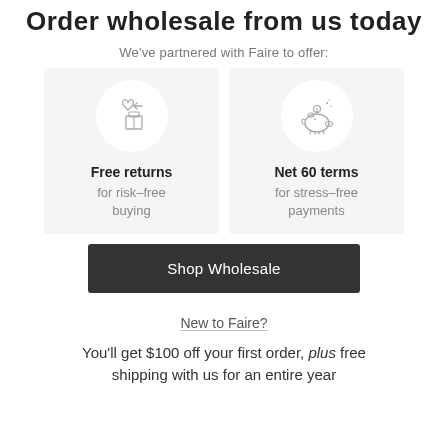Order wholesale from us today
We've partnered with Faire to offer:
[Figure (illustration): Two feature cards side by side on light grey backgrounds. Left card: circular white icon with a return/box with heart arrow icon, label 'Free returns' bold, below 'for risk–free buying' in grey. Right card: circular white icon with a piggy bank icon, label 'Net 60 terms' bold, below 'for stress–free payments' in grey.]
Shop Wholesale
New to Faire?
You'll get $100 off your first order, plus free shipping with us for an entire year